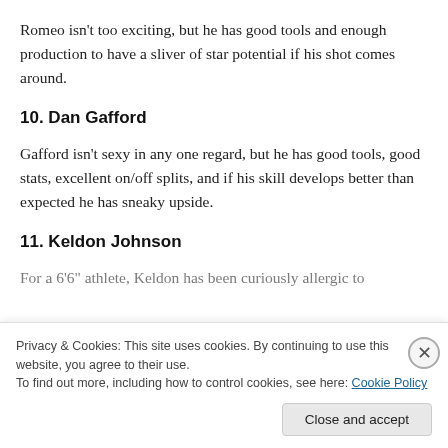Romeo isn't too exciting, but he has good tools and enough production to have a sliver of star potential if his shot comes around.
10. Dan Gafford
Gafford isn't sexy in any one regard, but he has good tools, good stats, excellent on/off splits, and if his skill develops better than expected he has sneaky upside.
11. Keldon Johnson
For a 6'6" athlete, Keldon has been curiously allergic to
Privacy & Cookies: This site uses cookies. By continuing to use this website, you agree to their use.
To find out more, including how to control cookies, see here: Cookie Policy